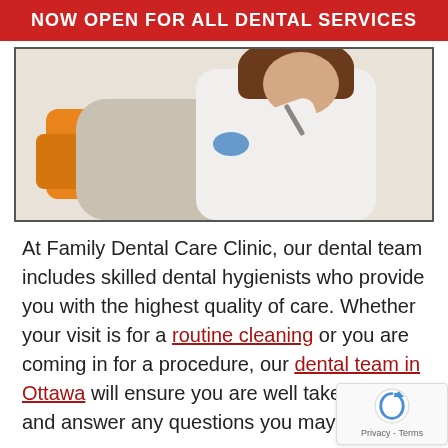NOW OPEN FOR ALL DENTAL SERVICES
[Figure (photo): A dental hygienist examining a seated patient who has their mouth open, in a dental clinic setting. The dentist is wearing a white coat and the patient is in an orange dental chair.]
At Family Dental Care Clinic, our dental team includes skilled dental hygienists who provide you with the highest quality of care. Whether your visit is for a routine cleaning or you are coming in for a procedure, our dental team in Ottawa will ensure you are well taken care of and answer any questions you may have.
For more information or to schedule an